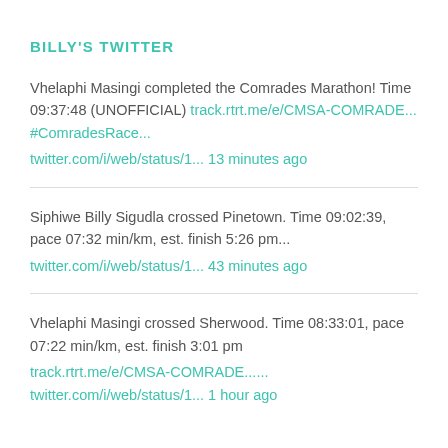BILLY'S TWITTER
Vhelaphi Masingi completed the Comrades Marathon! Time 09:37:48 (UNOFFICIAL) track.rtrt.me/e/CMSA-COMRADE... #ComradesRace... twitter.com/i/web/status/1... 13 minutes ago
Siphiwe Billy Sigudla crossed Pinetown. Time 09:02:39, pace 07:32 min/km, est. finish 5:26 pm... twitter.com/i/web/status/1... 43 minutes ago
Vhelaphi Masingi crossed Sherwood. Time 08:33:01, pace 07:22 min/km, est. finish 3:01 pm track.rtrt.me/e/CMSA-COMRADE...... twitter.com/i/web/status/1... 1 hour ago